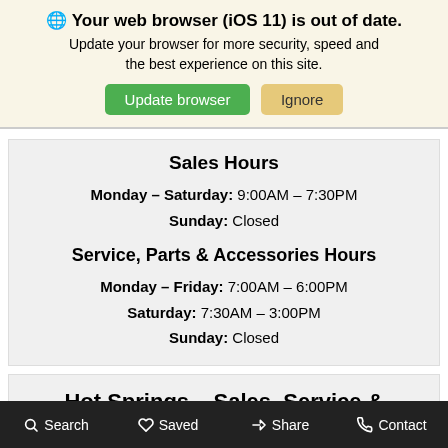🌐 Your web browser (iOS 11) is out of date. Update your browser for more security, speed and the best experience on this site.
Update browser | Ignore
Sales Hours
Monday – Saturday: 9:00AM – 7:30PM
Sunday: Closed
Service, Parts & Accessories Hours
Monday – Friday: 7:00AM – 6:00PM
Saturday: 7:30AM – 3:00PM
Sunday: Closed
Hot Springs – Sales, Service &
Search | Saved | Share | Contact